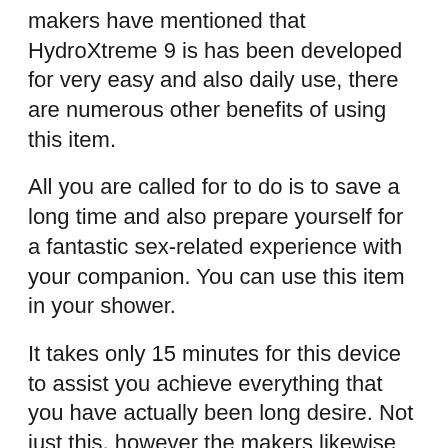makers have mentioned that HydroXtreme 9 is has been developed for very easy and also daily use, there are numerous other benefits of using this item.
All you are called for to do is to save a long time and also prepare yourself for a fantastic sex-related experience with your companion. You can use this item in your shower.
It takes only 15 minutes for this device to assist you achieve everything that you have actually been long desire. Not just this, however the makers likewise declare that you can attain a penile length increase by 1-3 inches upon erection on the first use this product.